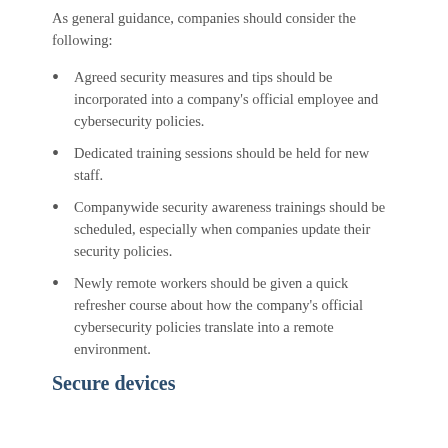As general guidance, companies should consider the following:
Agreed security measures and tips should be incorporated into a company's official employee and cybersecurity policies.
Dedicated training sessions should be held for new staff.
Companywide security awareness trainings should be scheduled, especially when companies update their security policies.
Newly remote workers should be given a quick refresher course about how the company's official cybersecurity policies translate into a remote environment.
Secure devices